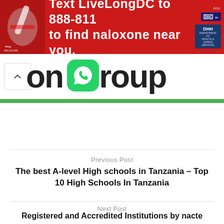[Figure (screenshot): Red advertisement banner: Text LiveLongDC to 888-811 to find naloxone near you. Shows DC and DHH logos on right side.]
[Figure (screenshot): WhatsApp group banner showing partial text 'on' and 'roup' with WhatsApp logo icon and an up-arrow button. Green bar below.]
Previous Post
The best A-level High schools in Tanzania – Top 10 High Schools In Tanzania
Next Post
Registered and Accredited Institutions by nacte